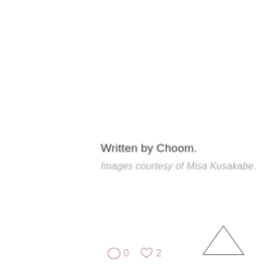Written by Choom.
Images courtesy of Misa Kusakabe.
0  2